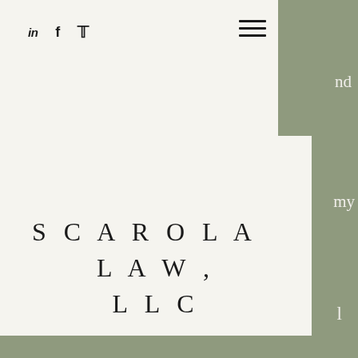in  f  (twitter icon)  ☰
SCAROLA LAW, LLC
nd
my
l
previously served as a volunteer attorney for Castle Rock Teen Court, a community-based, juvenile intervention/prevention program that offers an alternative to the juvenile justice system. I am a member of multiple bar associations including the Colorado Bar Association (CBA), the